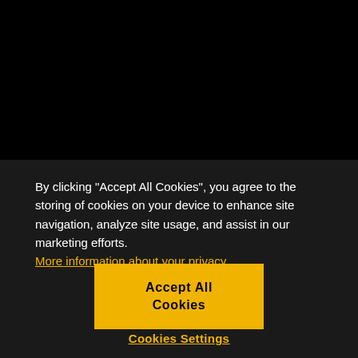By clicking “Accept All Cookies”, you agree to the storing of cookies on your device to enhance site navigation, analyze site usage, and assist in our marketing efforts. More information about your privacy
Accept All Cookies
Cookies Settings